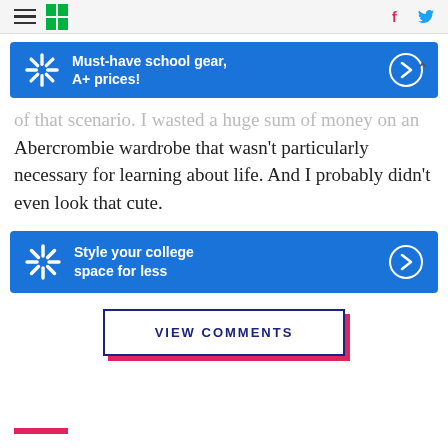HuffPost navigation with hamburger menu, logo, Facebook and Twitter icons
[Figure (infographic): Walmart ad banner: 'Must-have school gear, A+ prices!' with Walmart spark logo and arrow button]
of that scenario. I wasted a huge sum of money on an Abercrombie wardrobe that wasn't particularly necessary for learning about life. And I probably didn't even look that cute.
[Figure (infographic): Walmart ad banner: 'Style your college space for less' with Walmart spark logo and arrow button]
VIEW COMMENTS
[Figure (other): Pink horizontal bar at bottom left of page]